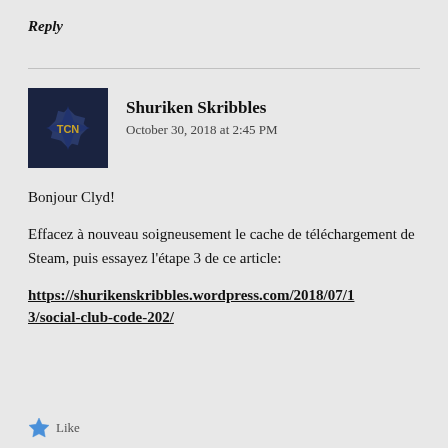Reply
[Figure (illustration): Dark navy blue avatar image showing a shuriken/ninja star shape with gold lettering, used as a profile avatar for Shuriken Skribbles]
Shuriken Skribbles
October 30, 2018 at 2:45 PM
Bonjour Clyd!
Effacez à nouveau soigneusement le cache de téléchargement de Steam, puis essayez l'étape 3 de ce article:
https://shurikenskribbles.wordpress.com/2018/07/13/social-club-code-202/
Like